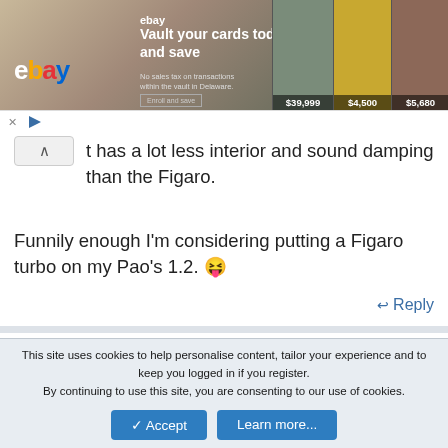[Figure (screenshot): eBay advertisement banner showing trading cards with prices $39,999, $4,500, $5,680 and text 'Vault your cards today and save']
t has a lot less interior and sound damping than the Figaro.
Funnily enough I'm considering putting a Figaro turbo on my Pao's 1.2. 😝
Reply
PAR1410
This site uses cookies to help personalise content, tailor your experience and to keep you logged in if you register.
By continuing to use this site, you are consenting to our use of cookies.
✓ Accept
Learn more...